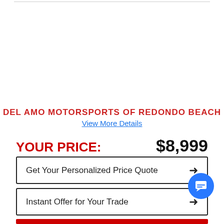DEL AMO MOTORSPORTS OF REDONDO BEACH
View More Details
YOUR PRICE: $8,999
Get Your Personalized Price Quote →
Instant Offer for Your Trade →